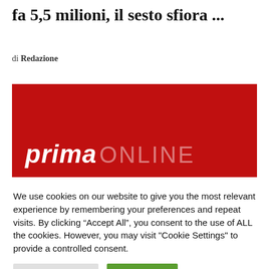fa 5,5 milioni, il sesto sfiora ...
di Redazione
[Figure (logo): prima ONLINE logo on a red background banner]
We use cookies on our website to give you the most relevant experience by remembering your preferences and repeat visits. By clicking “Accept All”, you consent to the use of ALL the cookies. However, you may visit "Cookie Settings" to provide a controlled consent.